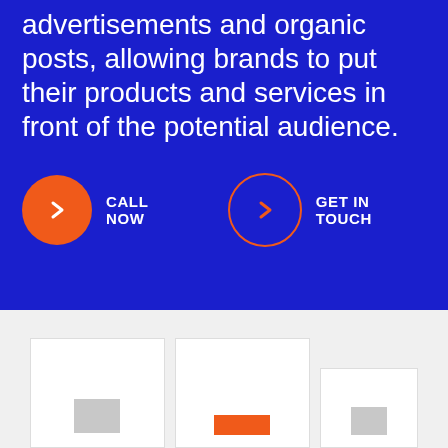advertisements and organic posts, allowing brands to put their products and services in front of the potential audience.
CALL NOW
GET IN TOUCH
[Figure (illustration): Three white cards/panels partially visible at the bottom of the gray section, representing UI mockup cards with placeholder content blocks]